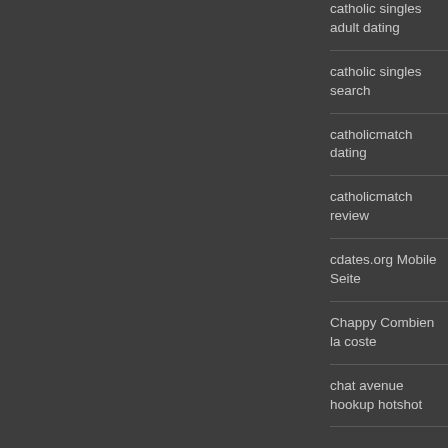catholic singles adult dating
catholic singles search
catholicmatch dating
catholicmatch review
cdates.org Mobile Seite
Chappy Combien la coste
chat avenue hookup hotshot